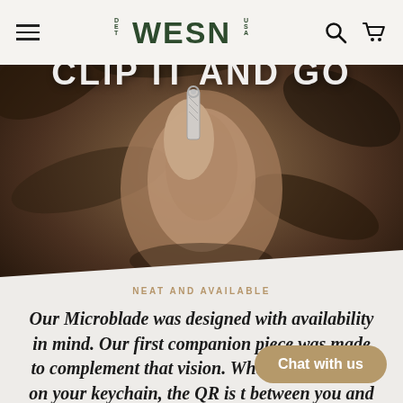[Figure (screenshot): WESN brand navigation bar with hamburger menu on left, WESN DET USA logo in center, search and cart icons on right]
[Figure (photo): Hero image of a hand holding a small metallic keychain tool/microblade against a dark natural background, with text overlay 'CLIP IT AND GO']
NEAT AND AVAILABLE
Our Microblade was designed with availability in mind. Our first companion piece was made to complement that vision. Whatever you have on your keychain, the QR is t between you and getting
Chat with us